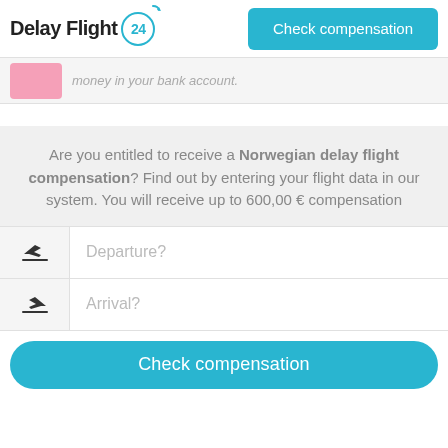Delay Flight 24 — Check compensation
[Figure (screenshot): Partially visible illustration with pink background element and italic grey text 'money in your bank account.']
Are you entitled to receive a Norwegian delay flight compensation? Find out by entering your flight data in our system. You will receive up to 600,00 € compensation
Departure?
Arrival?
Check compensation